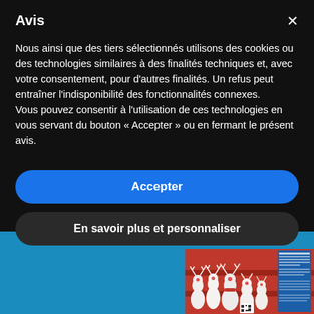Avis
Nous ainsi que des tiers sélectionnés utilisons des cookies ou des technologies similaires à des finalités techniques et, avec votre consentement, pour d'autres finalités. Un refus peut entraîner l'indisponibilité des fonctionnalités connexes.
Vous pouvez consentir à l'utilisation de ces technologies en vous servant du bouton « Accepter » ou en fermant le présent avis.
Accepter
En savoir plus et personnaliser
[Figure (photo): Photo of white ceramic reindeer figurines with red scarves arranged on a red background, with a partially visible document/flyer on the right side]